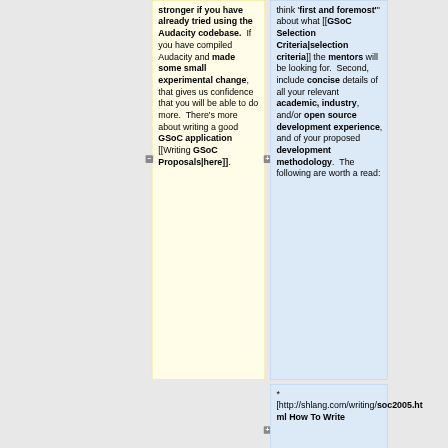stronger if you have already tried using the Audacity codebase. If you have compiled Audacity and made some small experimental change, that gives us confidence that you will be able to do more. There's more about writing a good GSoC application [[Writing GSoC Proposals|here]].
think 'first and foremost' about what [[GSoC Selection Criteria|selection criteria]] the mentors will be looking for. Second, include concise details of all your relevant academic, industry, and/or open source development experience, and of your proposed development methodology. The following are worth a read:
* [http://shlang.com/writing/soc2005.html How To Write